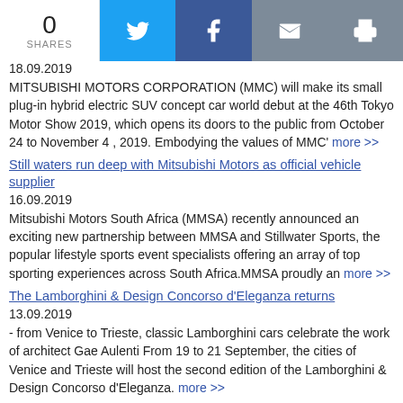0 SHARES | Twitter | Facebook | Email | Print
18.09.2019
MITSUBISHI MOTORS CORPORATION (MMC) will make its small plug-in hybrid electric SUV concept car world debut at the 46th Tokyo Motor Show 2019, which opens its doors to the public from October 24 to November 4 , 2019. Embodying the values of MMC' more >>
Still waters run deep with Mitsubishi Motors as official vehicle supplier
16.09.2019
Mitsubishi Motors South Africa (MMSA) recently announced an exciting new partnership between MMSA and Stillwater Sports, the popular lifestyle sports event specialists offering an array of top sporting experiences across South Africa.MMSA proudly an more >>
The Lamborghini & Design Concorso d'Eleganza returns
13.09.2019
- from Venice to Trieste, classic Lamborghini cars celebrate the work of architect Gae Aulenti From 19 to 21 September, the cities of Venice and Trieste will host the second edition of the Lamborghini & Design Concorso d'Eleganza. more >>
Always There: Opel at the IAA Motor Show
12.09.2019
Founding members: Opel brothers ventured into car business